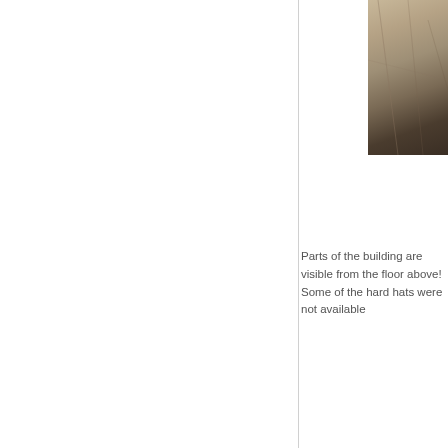[Figure (photo): Partial photo of a building interior showing ceiling or wall surface with cracks or texture, cut off at page edge, appearing in upper right corner of the page.]
Parts of the building are visible from the floor above! Some of the hard hats were not available